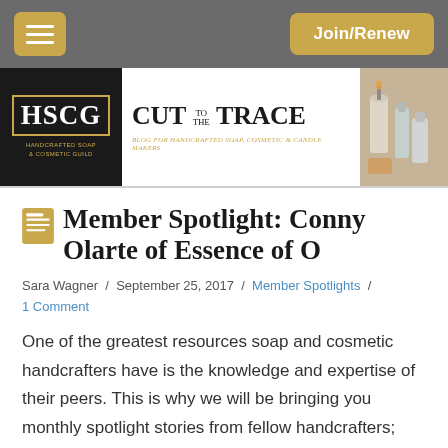HSCG Handcrafted Soap & Cosmetic Guild | Cut to the Trace — Blog for Handcrafted Soap, Cosmetic & Candle Makers | Join/Renew
Member Spotlight: Conny Olarte of Essence of O
Sara Wagner / September 25, 2017 / Member Spotlights / 1 Comment
One of the greatest resources soap and cosmetic handcrafters have is the knowledge and expertise of their peers. This is why we will be bringing you monthly spotlight stories from fellow handcrafters; we'll take a look at their experiences, including why they began